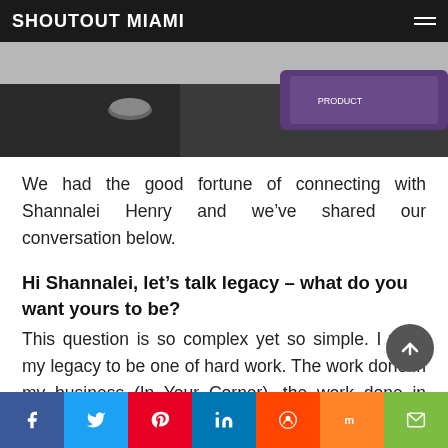SHOUTOUT MIAMI
[Figure (photo): Partial view of a desk scene with a dark surface, a cup/coaster, and a purple product package in the background.]
We had the good fortune of connecting with Shannalei Henry and we’ve shared our conversation below.
Hi Shannalei, let’s talk legacy – what do you want yours to be?
This question is so complex yet so simple. I want my legacy to be one of hard work. The work done in my business (In Your Corner), the work done in different ministries for my church and through the work I want to do in my community. I want my legacy to reflect the faith that I have and so much more.
Facebook | Twitter | Pinterest | LinkedIn | Reddit | Mix | Email